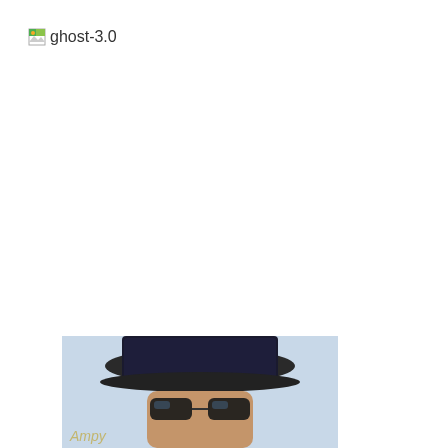[Figure (logo): ghost-3.0 logo with broken image icon and text label]
[Figure (photo): Partial photo of a person wearing a dark flat-brim hat and sunglasses, with a light blue sky background. Only the top portion of the head is visible at the bottom of the page.]